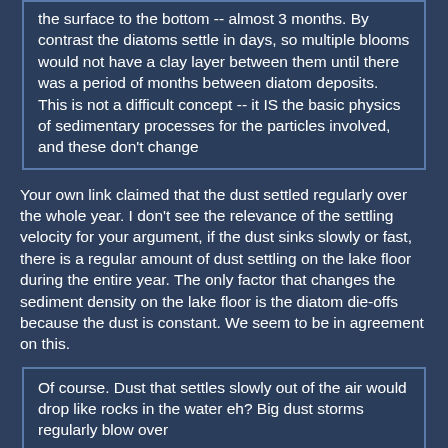the surface to the bottom -- almost 3 months. By contrast the diatoms settle in days, so multiple blooms would not have a clay layer between them until there was a period of months between diatom deposits. This is not a difficult concept -- it IS the basic physics of sedimentary processes for the particles involved, and these don't change
Your own link claimed that the dust settled regularly over the whole year. I don't see the relevance of the settling velocity for your argument, if the dust sinks slowly or fast, there is a regular amount of dust settling on the lake floor during the entire year. The only factor that changes the sediment density on the lake floor is the diatom die-offs because the dust is constant. We seem to be in agreement on this.
Of course. Dust that settles slowly out of the air would drop like rocks in the water eh? Big dust storms regularly blow over